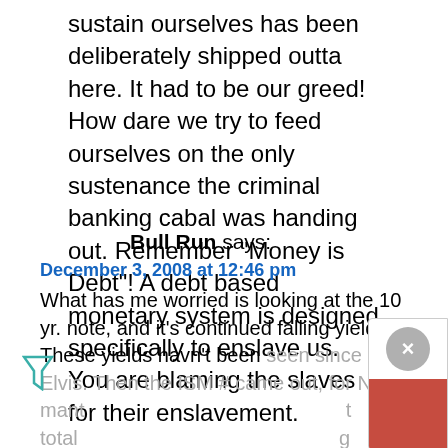sustain ourselves has been deliberately shipped outta here. It had to be our greed! How dare we try to feed ourselves on the only sustenance the criminal banking cabal was handing out. Remember "Money is Debt"! A debt based monetary system is designed specifically to enslave us. You are blaming the slaves for their enslavement.
Bull Run says:
December 3, 2008 at 12:46 pm
What has me worried is looking at the 10 yr. note, and it's continued falling yield. These yields havn't been seen since Elvis. Then the ISM # came out, for Nov. mant... t total... g component, which shows steep drop ons. All this points to deflation, and falling liquidity, similar to the great...